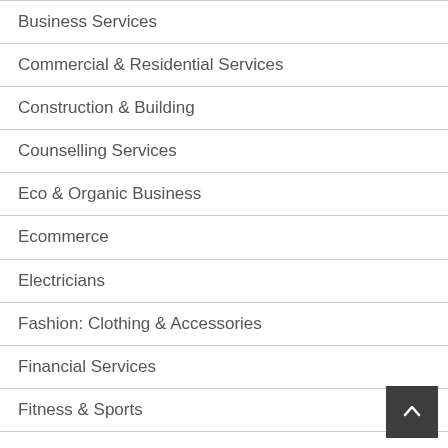Business Services
Commercial & Residential Services
Construction & Building
Counselling Services
Eco & Organic Business
Ecommerce
Electricians
Fashion: Clothing & Accessories
Financial Services
Fitness & Sports